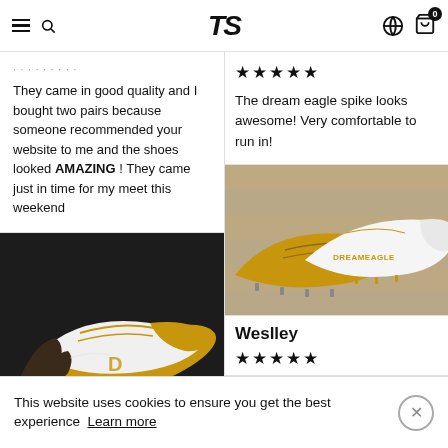TS
They came in good quality and I bought two pairs because someone recommended your website to me and the shoes looked AMAZING ! They came just in time for my meet this weekend
[Figure (photo): Photo of gold and white track spikes being held by a hand against a dark background]
★★★★★
The dream eagle spike looks awesome! Very comfortable to run in!
[Figure (photo): Photo of gold and white DREAMEAGLE track spikes on a wooden surface]
Weslley
★★★★★
This website uses cookies to ensure you get the best experience Learn more